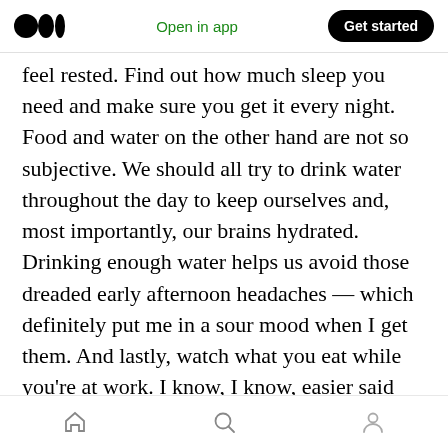Medium logo | Open in app | Get started
feel rested. Find out how much sleep you need and make sure you get it every night. Food and water on the other hand are not so subjective. We should all try to drink water throughout the day to keep ourselves and, most importantly, our brains hydrated. Drinking enough water helps us avoid those dreaded early afternoon headaches — which definitely put me in a sour mood when I get them. And lastly, watch what you eat while you're at work. I know, I know, easier said than done, right? The vending machine is only 10 steps away, Karen brought in doughnuts, and there's a
Home | Search | Profile